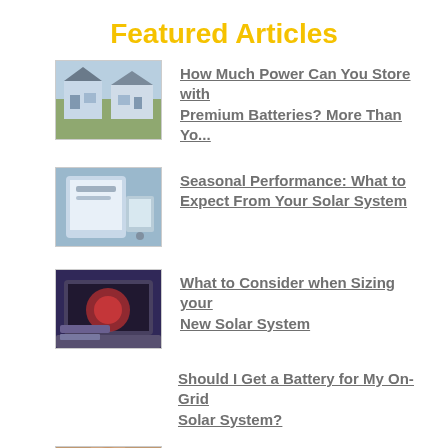Featured Articles
How Much Power Can You Store with Premium Batteries? More Than Yo...
Seasonal Performance: What to Expect From Your Solar System
What to Consider when Sizing your New Solar System
Should I Get a Battery for My On-Grid Solar System?
Upfront Costs of Ownership with a